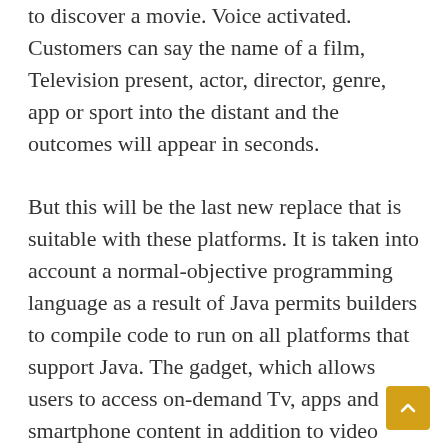to discover a movie. Voice activated. Customers can say the name of a film, Television present, actor, director, genre, app or sport into the distant and the outcomes will appear in seconds. But this will be the last new replace that is suitable with these platforms. It is taken into account a normal-objective programming language as a result of Java permits builders to compile code to run on all platforms that support Java. The gadget, which allows users to access on-demand Tv, apps and smartphone content in addition to video games, debuted in the US in April. Keep away from having to purchase the same apps a number of instances. Minecraft usernames By unifying the